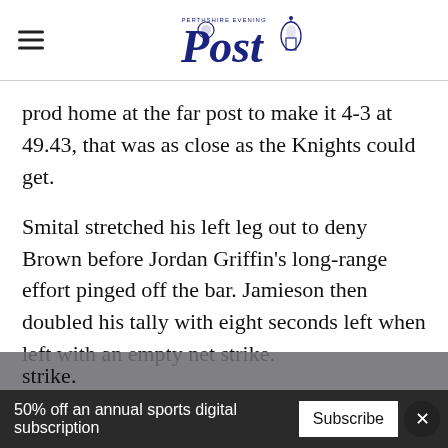Perthshire Evening Post
prod home at the far post to make it 4-3 at 49.43, that was as close as the Knights could get.
Smital stretched his left leg out to deny Brown before Jordan Griffin's long-range effort pinged off the bar. Jamieson then doubled his tally with eight seconds left when left with an empty net strike.
50% off an annual sports digital subscription  Subscribe